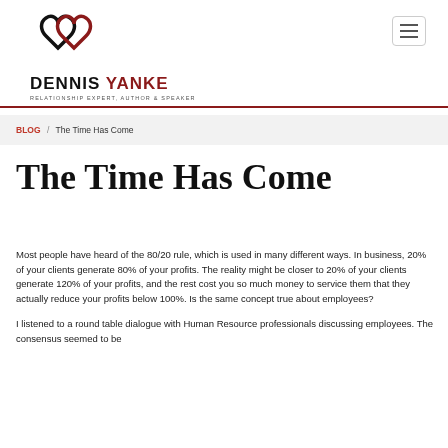[Figure (logo): Dennis Yanke logo with two interlocking hearts (one black, one red) above the name DENNIS YANKE, RELATIONSHIP EXPERT, AUTHOR & SPEAKER]
DENNIS YANKE | RELATIONSHIP EXPERT, AUTHOR & SPEAKER
BLOG / The Time Has Come
The Time Has Come
Most people have heard of the 80/20 rule, which is used in many different ways. In business, 20% of your clients generate 80% of your profits. The reality might be closer to 20% of your clients generate 120% of your profits, and the rest cost you so much money to service them that they actually reduce your profits below 100%. Is the same concept true about employees?
I listened to a round table dialogue with Human Resource professionals discussing employees. The consensus seemed to be